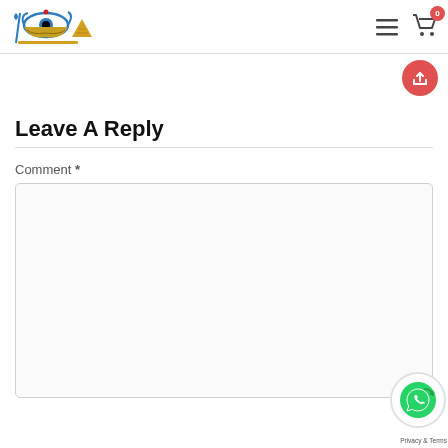Navigation header with logo, hamburger menu, and cart icon (0 items)
[Figure (logo): Eye of Ra / Horus logo with blue, gold, and brown colors, Egyptian themed]
[Figure (other): Red circular share button]
Leave A Reply
Comment *
[Figure (other): Comment text area input field (empty)]
[Figure (other): WhatsApp contact button with Privacy & Terms text]